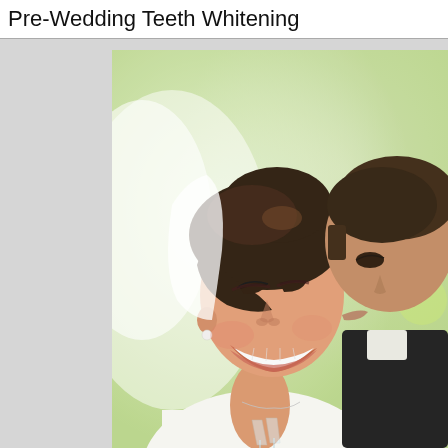Pre-Wedding Teeth Whitening
[Figure (photo): A smiling bride with bright white teeth, wearing a white wedding dress and pearl earrings, with a groom in a dark suit nuzzling her cheek. The background is soft green and white. The bride holds a champagne glass at the bottom.]